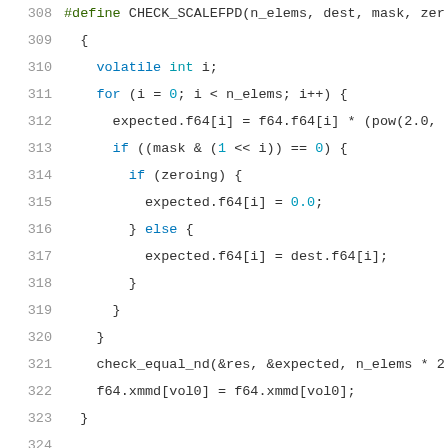[Figure (screenshot): Source code screenshot showing C/C++ code lines 308-329, including a macro definition CHECK_SCALEFPD and the beginning of a void NOINLINE do_scalefpd() function, with syntax highlighting in a code editor style.]